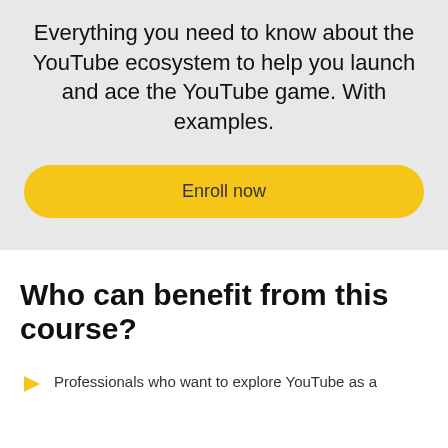Everything you need to know about the YouTube ecosystem to help you launch and ace the YouTube game. With examples.
Enroll now
Who can benefit from this course?
Professionals who want to explore YouTube as a